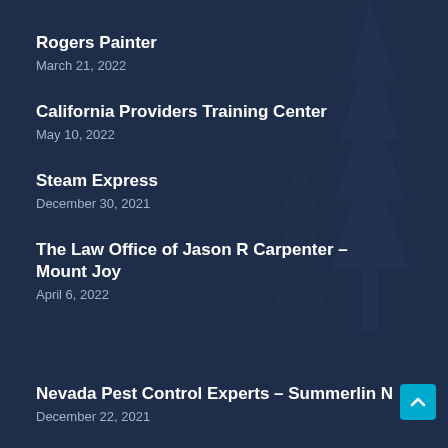Rogers Painter
March 21, 2022
California Providers Training Center
May 10, 2022
Steam Express
December 30, 2021
The Law Office of Jason R Carpenter – Mount Joy
April 6, 2022
Nevada Pest Control Experts – Summerlin N
December 22, 2021